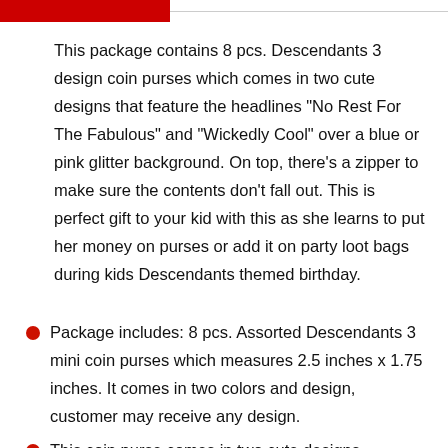This package contains 8 pcs. Descendants 3 design coin purses which comes in two cute designs that feature the headlines "No Rest For The Fabulous" and "Wickedly Cool" over a blue or pink glitter background. On top, there's a zipper to make sure the contents don't fall out. This is perfect gift to your kid with this as she learns to put her money on purses or add it on party loot bags during kids Descendants themed birthday.
Package includes: 8 pcs. Assorted Descendants 3 mini coin purses which measures 2.5 inches x 1.75 inches. It comes in two colors and design, customer may receive any design.
This coin purse comes in two cute designs